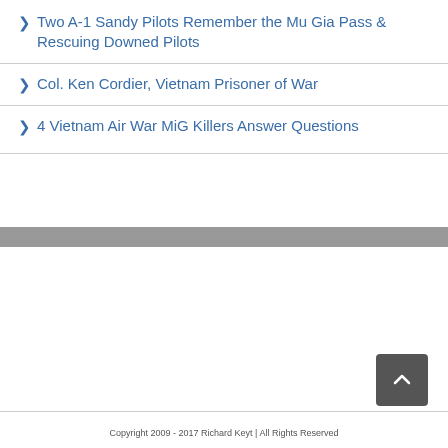Two A-1 Sandy Pilots Remember the Mu Gia Pass & Rescuing Downed Pilots
Col. Ken Cordier, Vietnam Prisoner of War
4 Vietnam Air War MiG Killers Answer Questions
Copyright 2009 - 2017 Richard Keyt | All Rights Reserved